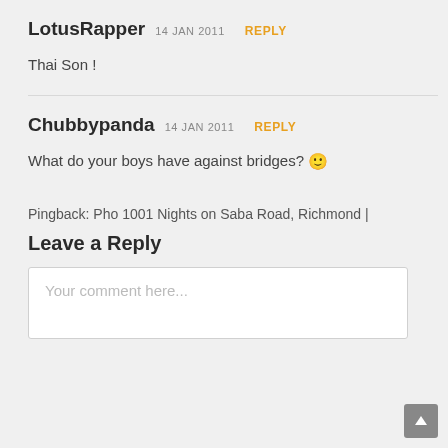LotusRapper 14 JAN 2011 REPLY
Thai Son !
Chubbypanda 14 JAN 2011 REPLY
What do your boys have against bridges? 🙂
Pingback: Pho 1001 Nights on Saba Road, Richmond |
Leave a Reply
Your comment here...